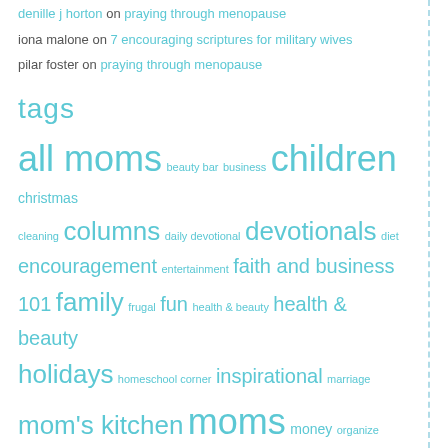denille j horton on praying through menopause
iona malone on 7 encouraging scriptures for military wives
pilar foster on praying through menopause
tags
all moms beauty bar business children christmas cleaning columns daily devotional devotionals diet encouragement entertainment faith and business 101 family frugal fun health & beauty health & beauty holidays homeschool corner inspirational marriage mom's kitchen moms money organize